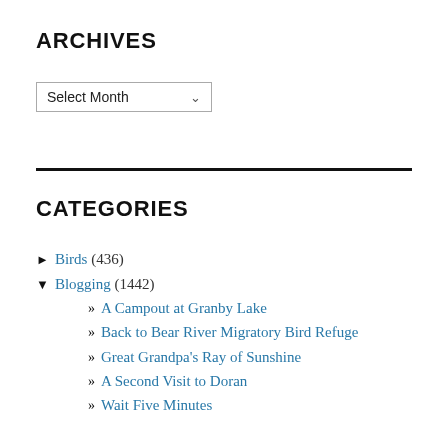ARCHIVES
Select Month
CATEGORIES
► Birds (436)
▼ Blogging (1442)
» A Campout at Granby Lake
» Back to Bear River Migratory Bird Refuge
» Great Grandpa's Ray of Sunshine
» A Second Visit to Doran
» Wait Five Minutes